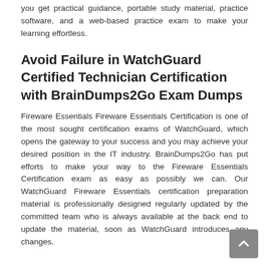you get practical guidance, portable study material, practice software, and a web-based practice exam to make your learning effortless.
Avoid Failure in WatchGuard Certified Technician Certification with BrainDumps2Go Exam Dumps
Fireware Essentials Fireware Essentials Certification is one of the most sought certification exams of WatchGuard, which opens the gateway to your success and you may achieve your desired position in the IT industry. BrainDumps2Go has put efforts to make your way to the Fireware Essentials Certification exam as easy as possibly we can. Our WatchGuard Fireware Essentials certification preparation material is professionally designed regularly updated by the committed team who is always available at the back end to update the material, soon as WatchGuard introduces any changes.